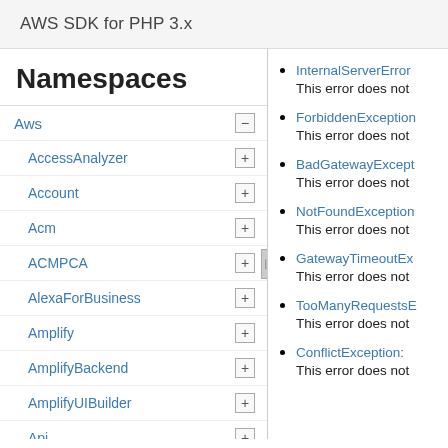AWS SDK for PHP 3.x
Namespaces
Aws
AccessAnalyzer
Account
Acm
ACMPCA
AlexaForBusiness
Amplify
AmplifyBackend
AmplifyUIBuilder
Api
ApiGateway
ApiGatewayManagementApi
InternalServerError
This error does not
ForbiddenException
This error does not
BadGatewayException
This error does not
NotFoundException
This error does not
GatewayTimeoutEx...
This error does not
TooManyRequestsE...
This error does not
ConflictException:
This error does not